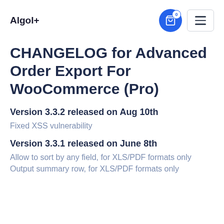Algol+
CHANGELOG for Advanced Order Export For WooCommerce (Pro)
Version 3.3.2 released on Aug 10th
Fixed XSS vulnerability
Version 3.3.1 released on June 8th
Allow to sort by any field, for XLS/PDF formats only
Output summary row, for XLS/PDF formats only